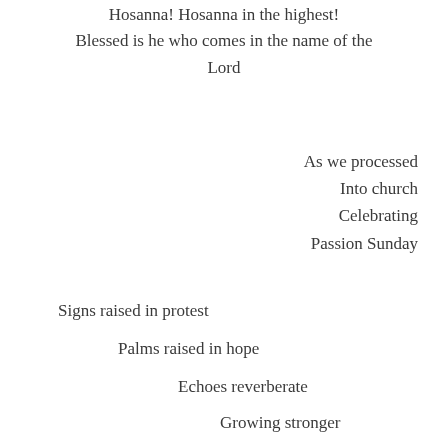Hosanna! Hosanna in the highest!
Blessed is he who comes in the name of the Lord
As we processed
Into church
Celebrating
Passion Sunday
Signs raised in protest
Palms raised in hope
Echoes reverberate
Growing stronger
We shall not,